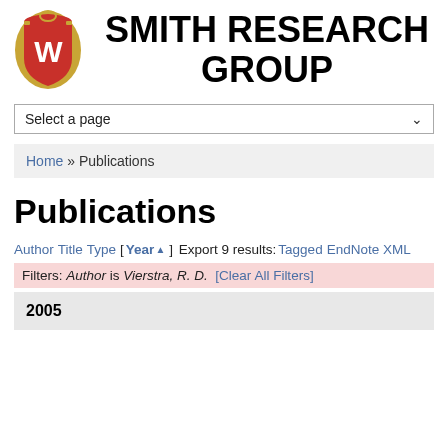[Figure (logo): University of Wisconsin crest/shield logo with red W on red background, gold ornamental border]
SMITH RESEARCH GROUP
Select a page
Home » Publications
Publications
Author Title Type [ Year▲ ] Export 9 results: Tagged EndNote XML
Filters: Author is Vierstra, R. D. [Clear All Filters]
2005